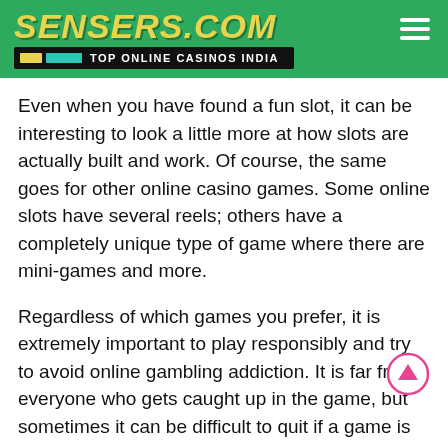SENSERS.COM — TOP ONLINE CASINOS INDIA
Even when you have found a fun slot, it can be interesting to look a little more at how slots are actually built and work. Of course, the same goes for other online casino games. Some online slots have several reels; others have a completely unique type of game where there are mini-games and more.
Regardless of which games you prefer, it is extremely important to play responsibly and try to avoid online gambling addiction. It is far from everyone who gets caught up in the game, but sometimes it can be difficult to quit if a game is entertaining.
How to choose the right online